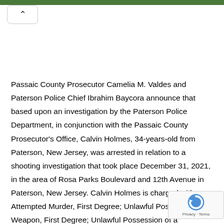[navigation bar with back button]
Passaic County Prosecutor Camelia M. Valdes and Paterson Police Chief Ibrahim Baycora announce that based upon an investigation by the Paterson Police Department, in conjunction with the Passaic County Prosecutor's Office, Calvin Holmes, 34-years-old from Paterson, New Jersey, was arrested in relation to a shooting investigation that took place December 31, 2021, in the area of Rosa Parks Boulevard and 12th Avenue in Paterson, New Jersey. Calvin Holmes is charged with Attempted Murder, First Degree; Unlawful Possession of a Weapon, First Degree; Unlawful Possession of a Handgun, Second Degree; Possession of a Weapon for an Unlawful Purpose, Second Degree; Certain Persons Not